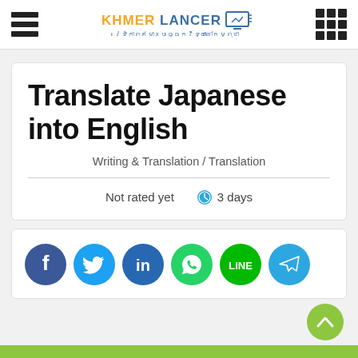Khmer Lancer
Translate Japanese into English
Writing & Translation / Translation
Not rated yet   3 days
[Figure (other): Social share buttons: Facebook, Twitter, LinkedIn, WhatsApp, LINE, Telegram]